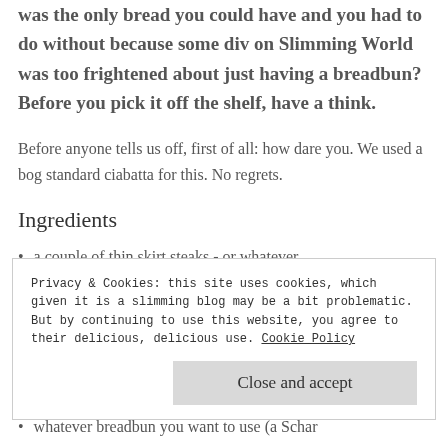was the only bread you could have and you had to do without because some div on Slimming World was too frightened about just having a breadbun? Before you pick it off the shelf, have a think.
Before anyone tells us off, first of all: how dare you. We used a bog standard ciabatta for this. No regrets.
Ingredients
a couple of thin skirt steaks - or whatever
Privacy & Cookies: this site uses cookies, which given it is a slimming blog may be a bit problematic. But by continuing to use this website, you agree to their delicious, delicious use. Cookie Policy
Close and accept
whatever breadbun you want to use (a Schar